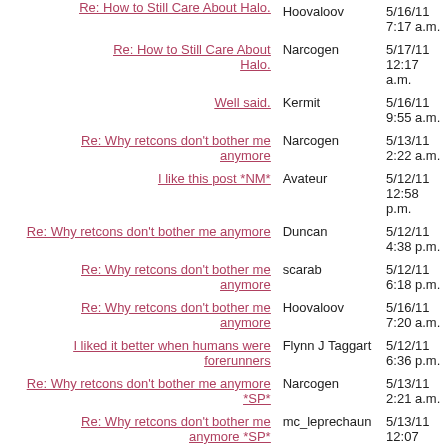| Thread | Author | Date |
| --- | --- | --- |
| Re: How to Still Care About Halo. | Hoovaloov | 5/16/11 7:17 a.m. |
| Re: How to Still Care About Halo. | Narcogen | 5/17/11 12:17 a.m. |
| Well said. | Kermit | 5/16/11 9:55 a.m. |
| Re: Why retcons don't bother me anymore | Narcogen | 5/13/11 2:22 a.m. |
| I like this post *NM* | Avateur | 5/12/11 12:58 p.m. |
| Re: Why retcons don't bother me anymore | Duncan | 5/12/11 4:38 p.m. |
| Re: Why retcons don't bother me anymore | scarab | 5/12/11 6:18 p.m. |
| Re: Why retcons don't bother me anymore | Hoovaloov | 5/16/11 7:20 a.m. |
| I liked it better when humans were forerunners | Flynn J Taggart | 5/12/11 6:36 p.m. |
| Re: Why retcons don't bother me anymore *SP* | Narcogen | 5/13/11 2:21 a.m. |
| Re: Why retcons don't bother me anymore *SP* | mc_leprechaun | 5/13/11 12:07 p.m. |